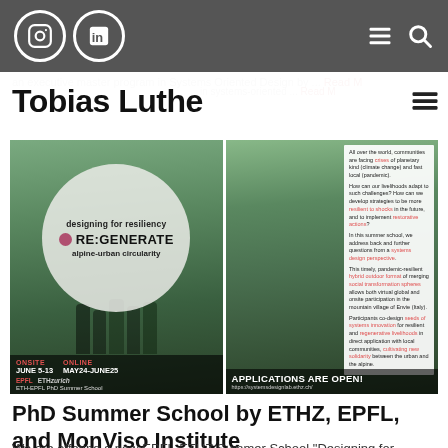Navigation bar with Instagram and LinkedIn icons, hamburger menu and search
Tobias Luthe
[Figure (photo): Two side-by-side promotional images for the ETH-EPFL PhD Summer School 'Designing for Resiliency RE:GENERATE alpine-urban circularity'. Left image shows students in a mountain meadow with a circular overlay text graphic. Right image shows a mountain trail path with text overlay describing the program. Bottom banners show: ONSITE JUNE 5-13, ONLINE MAY24-JUNE25, EPFL ETHzurich logos on left; APPLICATIONS ARE OPEN! with URL on right.]
PhD Summer School by ETHZ, EPFL, and MonViso Institute
We are offering a new EPFL-ETHZ Summer School "Designing for Resiliency RE:GENERATE alpine-urban...